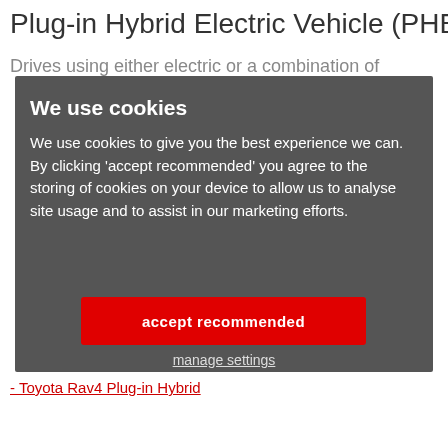Plug-in Hybrid Electric Vehicle (PHEV)
Drives using either electric or a combination of
[Figure (screenshot): Cookie consent overlay on a dark grey background with title 'We use cookies', body text explaining cookie usage, a red 'accept recommended' button, and a 'manage settings' underlined link.]
Toyota Rav4 Plug-in Hybrid